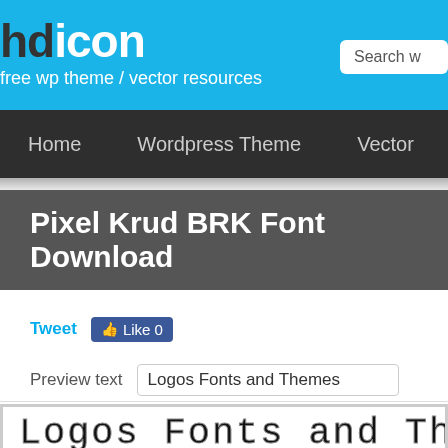hdicon - free wp theme / vector resources
Home   Wordpress Theme   Vector
Pixel Krud BRK Font Download
Tweet  Like 0
Preview text   Logos Fonts and Themes
[Figure (other): Font preview showing 'Logos Fonts and The' in Pixel Krud BRK style pixel font, dark outlined block letters on white background]